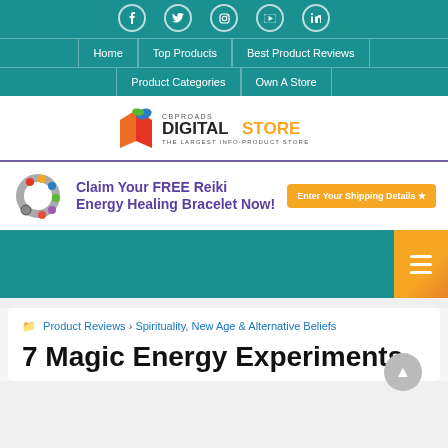Social icons: Facebook, Twitter, Instagram, YouTube, LinkedIn
Home | Top Products | Best Product Reviews | Product Categories | Own A Store
[Figure (logo): CBPROADS Digital Store - The Largest Info-Product Store logo with colorful book icon]
[Figure (infographic): Ad banner: Claim Your FREE Reiki Energy Healing Bracelet Now! with bracelet image and orange Enter Your Shipping Details button]
Product Reviews > Spirituality, New Age & Alternative Beliefs
7 Magic Energy Experiments